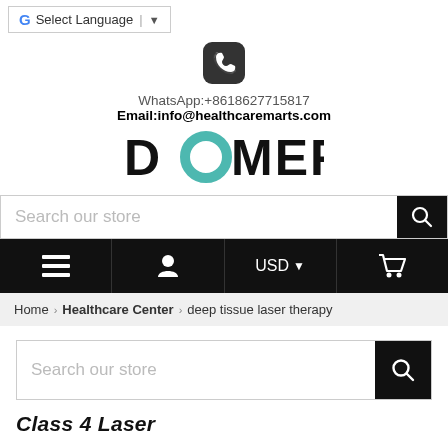G Select Language ▼
WhatsApp:+8618627715817
Email:info@healthcaremarts.com
[Figure (logo): DOMER brand logo with teal O letter]
Search our store
≡  👤  USD ▼  🛒
Home › Healthcare Center › deep tissue laser therapy
Search our store
Class 4 Laser